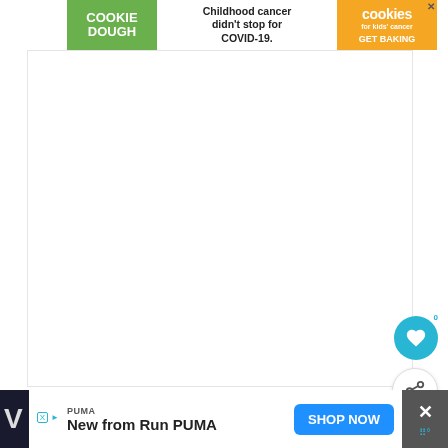[Figure (screenshot): Advertisement banner: Cookie Dough / Childhood cancer didn't stop for COVID-19. / cookies for kids' cancer GET BAKING]
[Figure (screenshot): Large white empty content area (product image placeholder)]
Buy it on Houzz
[Figure (screenshot): Bottom advertisement bar: PUMA / New from Run PUMA / SHOP NOW button]